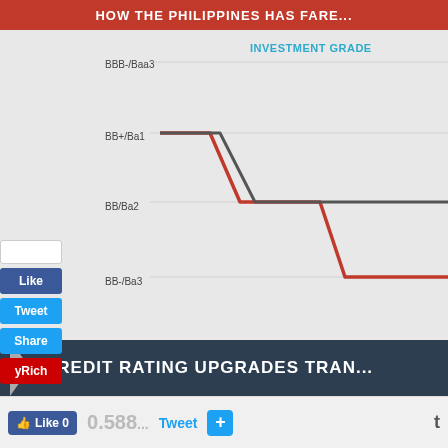HOW THE PHILIPPINES HAS FARE...
[Figure (line-chart): Line chart showing Philippines credit rating downgrades from BB+/Ba1 in 2001 to BB-/Ba3 by 2005 under Arroyo Administration. Investment grade threshold shown at BBB-/Baa3.]
ARROYO ADMINISTRATION
CREDIT RATING UPGRADES TRAN...
Like 0   0.588...   Tweet   +   t